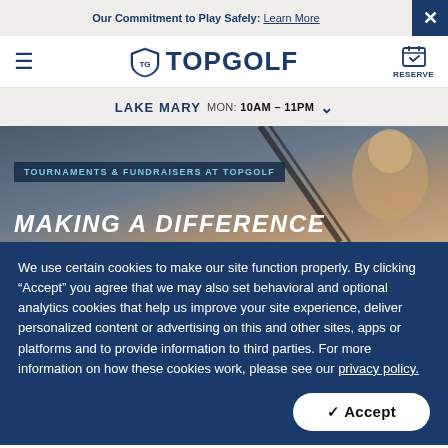Our Commitment to Play Safely: Learn More
[Figure (logo): Topgolf logo with shield emblem and TOPGOLF wordmark in navy blue]
LAKE MARY  MON: 10AM - 11PM
[Figure (photo): Hero image: person holding a golf club, smiling woman in background]
TOURNAMENTS & FUNDRAISERS AT TOPGOLF
MAKING A DIFFERENCE
We use certain cookies to make our site function properly. By clicking “Accept” you agree that we may also set behavioral and optional analytics cookies that help us improve your site experience, deliver personalized content or advertising on this and other sites, apps or platforms and to provide information to third parties. For more information on how these cookies work, please see our privacy policy.
✓ Accept